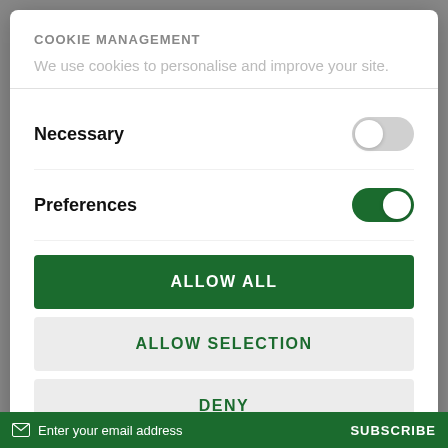COOKIE MANAGEMENT
We use cookies to personalise and improve your site.
Necessary
Preferences
ALLOW ALL
ALLOW SELECTION
DENY
Powered by Cookiebot by Usercentrics
Enter your email address  SUBSCRIBE